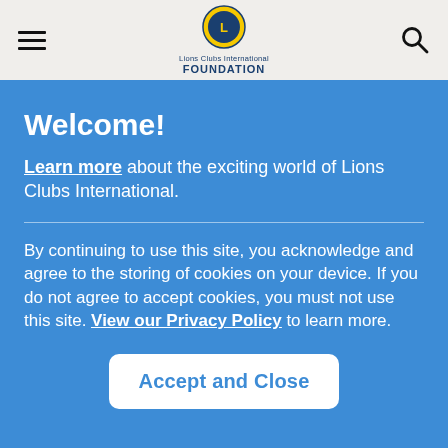Lions Clubs International Foundation
Welcome!
Learn more about the exciting world of Lions Clubs International.
By continuing to use this site, you acknowledge and agree to the storing of cookies on your device. If you do not agree to accept cookies, you must not use this site. View our Privacy Policy to learn more.
Accept and Close